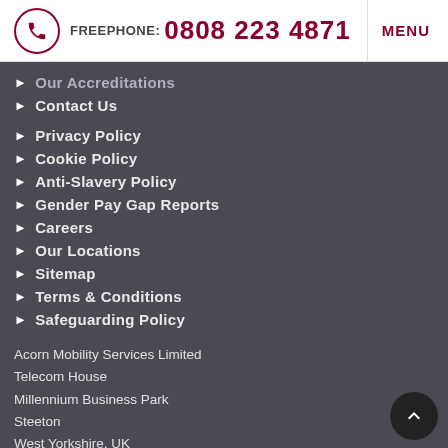FREEPHONE: 0808 223 4871 | MENU
Our Accreditations
Contact Us
Privacy Policy
Cookie Policy
Anti-Slavery Policy
Gender Pay Gap Reports
Careers
Our Locations
Sitemap
Terms & Conditions
Safeguarding Policy
Acorn Mobility Services Limited
Telecom House
Millennium Business Park
Steeton
West Yorkshire, UK
BD20 6RB
FREEPHONE: 0808 223 4871
Registered in England No. 02593771